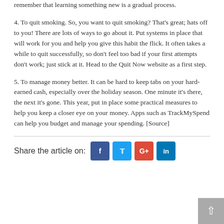remember that learning something new is a gradual process.
4. To quit smoking. So, you want to quit smoking? That's great; hats off to you! There are lots of ways to go about it. Put systems in place that will work for you and help you give this habit the flick. It often takes a while to quit successfully, so don't feel too bad if your first attempts don't work; just stick at it. Head to the Quit Now website as a first step.
5. To manage money better. It can be hard to keep tabs on your hard-earned cash, especially over the holiday season. One minute it's there, the next it's gone. This year, put in place some practical measures to help you keep a closer eye on your money. Apps such as TrackMySpend can help you budget and manage your spending. [Source]
Share the article on: